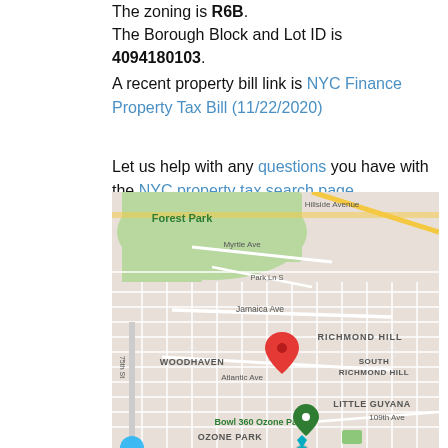The zoning is R6B. The Borough Block and Lot ID is 4094180103.
A recent property bill link is NYC Finance Property Tax Bill (11/22/2020)
Let us help with any questions you have with the NYC property tax search page
[Figure (map): Google Maps showing Queens neighborhood area including Forest Park, Woodhaven, Richmond Hill, South Richmond Hill, Little Guyana, Ozone Park, with a red location pin marker placed in the Woodhaven/Richmond Hill area near Atlantic Ave. Also shows Bowl 360 Ozone Park (green pin) and Resorts World Casino New York City (teal pin).]